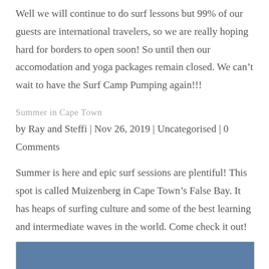Well we will continue to do surf lessons but 99% of our guests are international travelers, so we are really hoping hard for borders to open soon! So until then our accomodation and yoga packages remain closed. We can't wait to have the Surf Camp Pumping again!!!
Summer in Cape Town
by Ray and Steffi | Nov 26, 2019 | Uncategorised | 0 Comments
Summer is here and epic surf sessions are plentiful! This spot is called Muizenberg in Cape Town's False Bay. It has heaps of surfing culture and some of the best learning and intermediate waves in the world. Come check it out!
[Figure (photo): Partial view of a blue-toned image, likely a beach or surf scene at Muizenberg, Cape Town.]